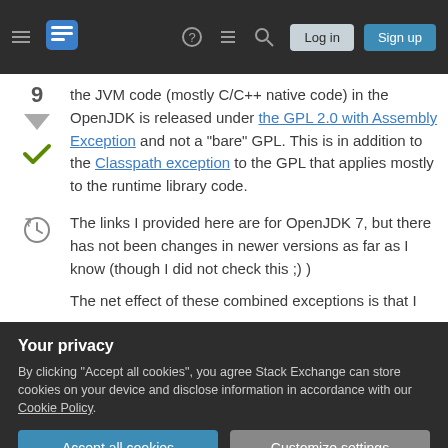Stack Exchange navigation bar with Log in and Sign up buttons
the JVM code (mostly C/C++ native code) in the OpenJDK is released under the GPL 2.0 with Assembly Exception and not a "bare" GPL. This is in addition to the Classpath exception to the GPL that applies mostly to the runtime library code.
The links I provided here are for OpenJDK 7, but there has not been changes in newer versions as far as I know (though I did not check this ;) )
The net effect of these combined exceptions is that I would usually consider OpenJDK a perfectly valid
Your privacy
By clicking "Accept all cookies", you agree Stack Exchange can store cookies on your device and disclose information in accordance with our Cookie Policy.
redistribution. (But these requirements would not